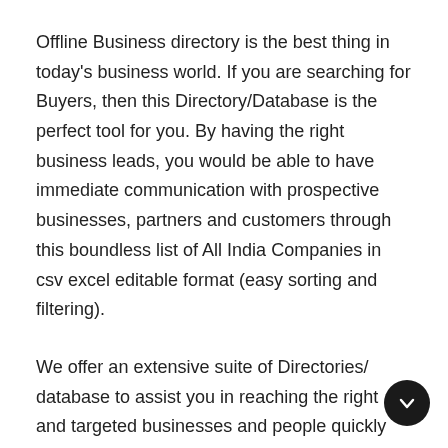Offline Business directory is the best thing in today's business world. If you are searching for Buyers, then this Directory/Database is the perfect tool for you. By having the right business leads, you would be able to have immediate communication with prospective businesses, partners and customers through this boundless list of All India Companies in csv excel editable format (easy sorting and filtering).
We offer an extensive suite of Directories/ database to assist you in reaching the right and targeted businesses and people quickly and easily. Business, B2B, Industrial Directories, Mailing List are used for sales planning, finding Buyers, Sector, Business House and marketing research to perform business analysis. With our company database/Directory, you will have access to company list, Corporate/Leading...